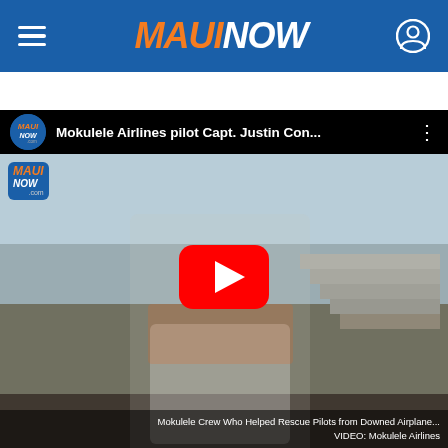MAUI NOW
[Figure (screenshot): YouTube video thumbnail showing Mokulele Airlines pilot Capt. Justin Con... wearing a mask and floral lei, being interviewed at an airport tarmac. A YouTube play button is overlaid in the center. The video title bar shows the MauiNow logo and title 'Mokulele Airlines pilot Capt. Justin Con...' A caption at the bottom reads: 'Mokulele Crew Who Helped Rescue Pilots from Downed Airplane... VIDEO: Mokulele Airlines']